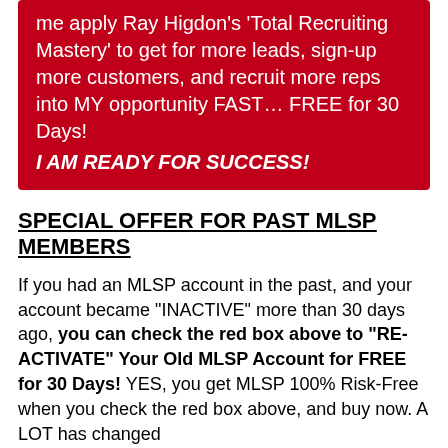me apply Ray Higdon's 'Total Recruiting Mastery' to get for more leads, sign-up more customers, and recruit more reps into MY opportunity FAST… FREE for 30 Days! I AM READY FOR SUCCESS!
SPECIAL OFFER FOR PAST MLSP MEMBERS
If you had an MLSP account in the past, and your account became "INACTIVE" more than 30 days ago, you can check the red box above to "RE-ACTIVATE" Your Old MLSP Account for FREE for 30 Days! YES, you get MLSP 100% Risk-Free when you check the red box above, and buy now. A LOT has changed